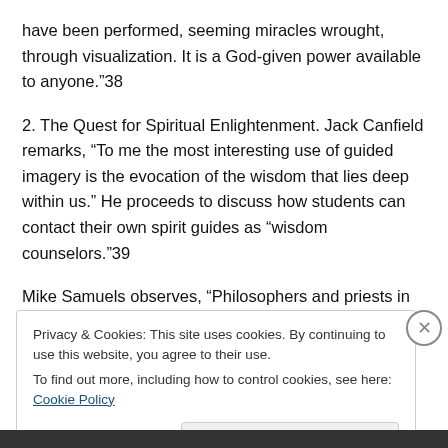have been performed, seeming miracles wrought, through visualization. It is a God-given power available to anyone.”38
2. The Quest for Spiritual Enlightenment. Jack Canfield remarks, “To me the most interesting use of guided imagery is the evocation of the wisdom that lies deep within us.” He proceeds to discuss how students can contact their own spirit guides as “wisdom counselors.”39
Mike Samuels observes, “Philosophers and priests in
Privacy & Cookies: This site uses cookies. By continuing to use this website, you agree to their use.
To find out more, including how to control cookies, see here: Cookie Policy